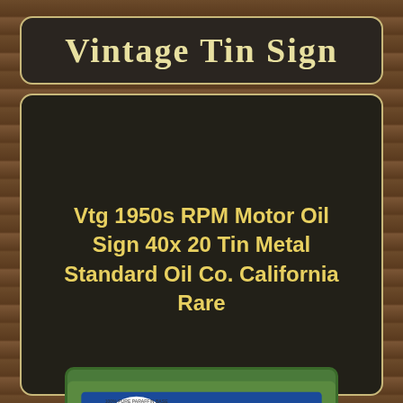Vintage Tin Sign
Vtg 1950s RPM Motor Oil Sign 40x 20 Tin Metal Standard Oil Co. California Rare
[Figure (photo): Photo of a vintage RPM Motor Oil tin sign showing the RPM logo with red circle on left and blue background with white text 'RPM MOTOR OIL' on the right. eBay watermark visible. Sign is displayed on green grass/turf background.]